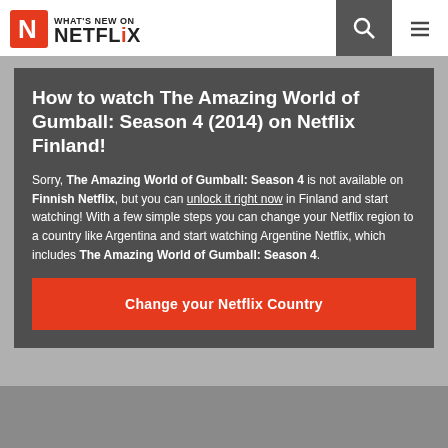What's New on Netflix
How to watch The Amazing World of Gumball: Season 4 (2014) on Netflix Finland!
Sorry, The Amazing World of Gumball: Season 4 is not available on Finnish Netflix, but you can unlock it right now in Finland and start watching! With a few simple steps you can change your Netflix region to a country like Argentina and start watching Argentine Netflix, which includes The Amazing World of Gumball: Season 4.
Change your Netflix Country